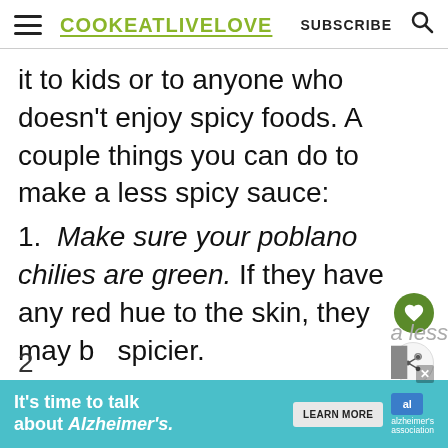COOK EAT LIVE LOVE  SUBSCRIBE
it to kids or to anyone who doesn't enjoy spicy foods. A couple things you can do to make a less spicy sauce:
1. Make sure your poblano chilies are green. If they have any red hue to the skin, they may be spicier.
[Figure (other): What's Next promo box with food image showing Vegetarian Stuffed...]
[Figure (other): Advertisement banner: It's time to talk about Alzheimer's. LEARN MORE. Alzheimer's association logo.]